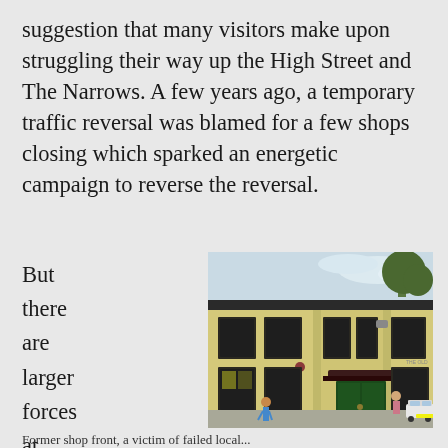suggestion that many visitors make upon struggling their way up the High Street and The Narrows. A few years ago, a temporary traffic reversal was blamed for a few shops closing which sparked an energetic campaign to reverse the reversal.
But there are larger forces at work behind the
[Figure (photo): A yellow-painted two-storey building with dark green door and dark window frames, street scene with pedestrians and a white car visible]
Former shop front, a victim of failed local...